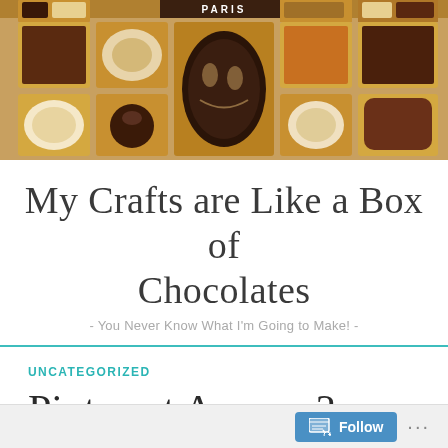[Figure (photo): Box of assorted chocolates with various milk and white chocolate pieces arranged in gold foil, with a decorative oval chocolate piece in the center and 'PARIS' text visible at top]
My Crafts are Like a Box of Chocolates
- You Never Know What I'm Going to Make! -
UNCATEGORIZED
Pinterest Anyone?
May 11, 2011   beccreates1